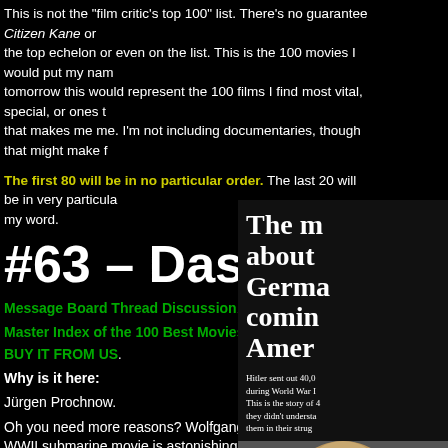This is not the "film critic's top 100" list. There's no guarantee Citizen Kane or the top echelon or even on the list. This is the 100 movies I would put my name tomorrow this would represent the 100 films I find most vital, special, or ones that makes me me. I'm not including documentaries, though that might make f
The first 80 will be in no particular order. The last 20 will be in very particular my word.
#63 – Das Boot
Message Board Thread Discussion.
Master Index of the 100 Best Movies Ever.
BUY IT FROM US.
Why is it here:
Jürgen Prochnow.
Oh you need more reasons? Wolfgang Petersen's epic WWII submarine movie is astonishing and a game
[Figure (photo): Movie poster or promotional image for Das Boot. Black background with large white serif text reading 'The m about Germa comin Amer'. Below the text is smaller body copy mentioning Hitler and 40,000 men during World War II, and a partially visible black and white photograph of a face at the bottom.]